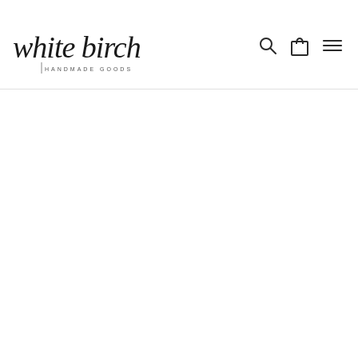white birch HANDMADE GOODS
[Figure (logo): White Birch Handmade Goods logo with handwritten script text 'white birch' and subtitle 'HANDMADE GOODS', alongside navigation icons: search, cart, and hamburger menu]